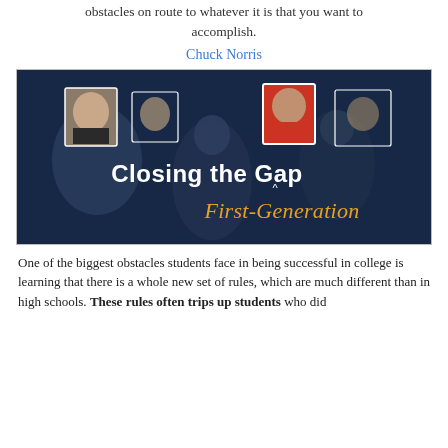obstacles on route to whatever it is that you want to accomplish.
Chuck Norris
[Figure (photo): Promotional image for 'Closing the Gap: First-Generation' showing college students in a classroom setting with face-detection boxes overlaid, blue-tinted photo. Bold white text reads 'Closing the Gap' and gold italic text reads 'First-Generation'.]
One of the biggest obstacles students face in being successful in college is learning that there is a whole new set of rules, which are much different than in high schools. These rules often trips up students who did